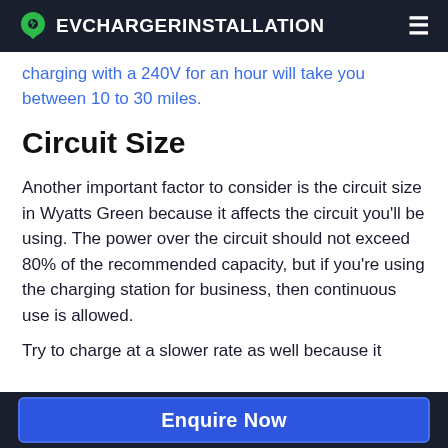EVCHARGERINSTALLATION
charging with a 240V for an hour will take you between 10 to 30 miles.
Circuit Size
Another important factor to consider is the circuit size in Wyatts Green because it affects the circuit you'll be using. The power over the circuit should not exceed 80% of the recommended capacity, but if you're using the charging station for business, then continuous use is allowed.
Try to charge at a slower rate as well because it
Enquire Now